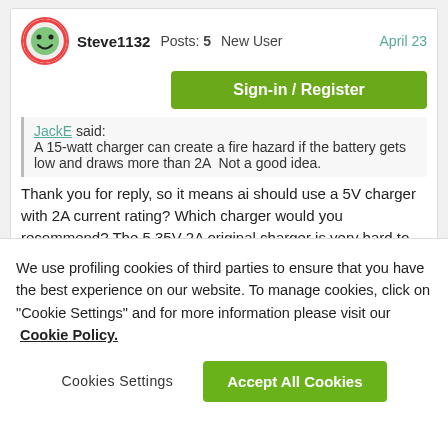Steve1132  Posts: 5  New User  April 23
Sign-in / Register
JackE said: A 15-watt charger can create a fire hazard if the battery gets low and draws more than 2A  Not a good idea.
Thank you for reply, so it means ai should use a 5V charger with 2A current rating? Which charger would you recommend? The 5.35V 2A original charger is very hard to find
JackE  Posts: 37,552  Trailblazer  April 24
We use profiling cookies of third parties to ensure that you have the best experience on our website. To manage cookies, click on "Cookie Settings" and for more information please visit our  Cookie Policy.
Cookies Settings
Accept All Cookies